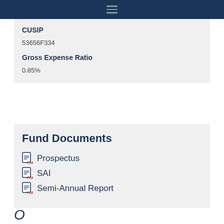CUSIP
53656F334
Gross Expense Ratio
0.85%
Fund Documents
Prospectus
SAI
Semi-Annual Report